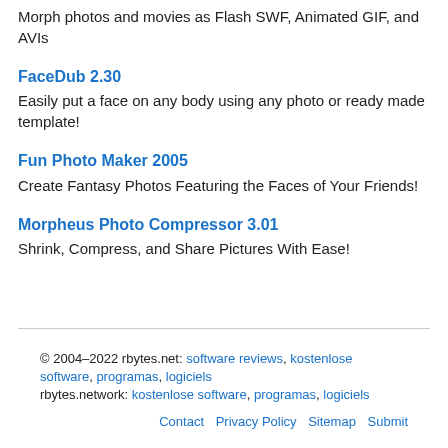Morph photos and movies as Flash SWF, Animated GIF, and AVIs
FaceDub 2.30
Easily put a face on any body using any photo or ready made template!
Fun Photo Maker 2005
Create Fantasy Photos Featuring the Faces of Your Friends!
Morpheus Photo Compressor 3.01
Shrink, Compress, and Share Pictures With Ease!
© 2004–2022 rbytes.net: software reviews, kostenlose software, programas, logiciels
rbytes.network: kostenlose software, programas, logiciels
Contact  Privacy Policy  Sitemap  Submit